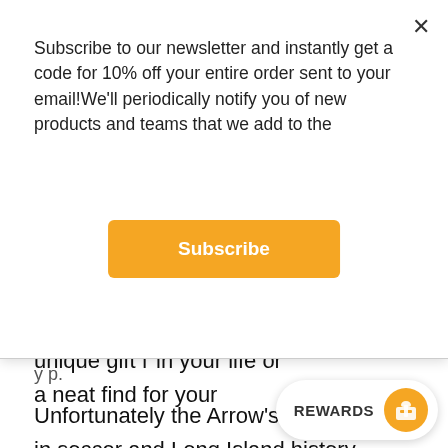Subscribe to our newsletter and instantly get a code for 10% off your entire order sent to your email!We'll periodically notify you of new products and teams that we add to the
Subscribe
Unfortunately the Arrow's meteoric rise in soccer and Long Island history would be short lived. In November 1982, owner John Luciani sold the Arrows to the owner of the Kansas City Comets. Unfortunately, the transition was tough and the Arrows folded in 1984.
This would make a unique gift for the fan in your life or a neat find for your soccer team from New York.
REWARDS